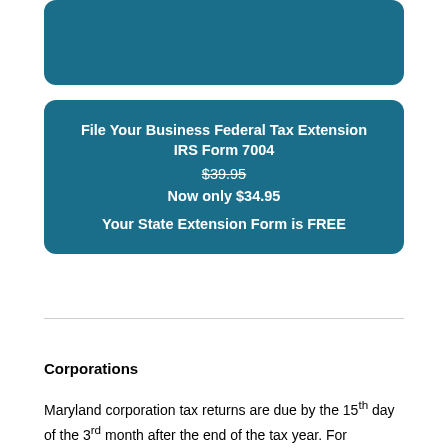[Figure (other): Teal rounded rectangle box at top (partial, cropped)]
File Your Business Federal Tax Extension
IRS Form 7004
$39.95
Now only $34.95
Your State Extension Form is FREE
Corporations
Maryland corporation tax returns are due by the 15th day of the 3rd month after the end of the tax year. For calendar year filers,